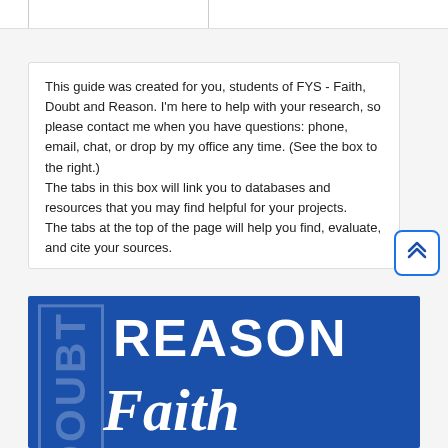Web Resources
This guide was created for you, students of FYS - Faith, Doubt and Reason. I'm here to help with your research, so please contact me when you have questions: phone, email, chat, or drop by my office any time. (See the box to the right.)
The tabs in this box will link you to databases and resources that you may find helpful for your projects.
The tabs at the top of the page will help you find, evaluate, and cite your sources.
[Figure (illustration): Blue background image with white text reading DOUBT (vertical, outlined), REASON (large bold uppercase), and Faith (large italic script) — course cover image for FYS Faith, Doubt and Reason]